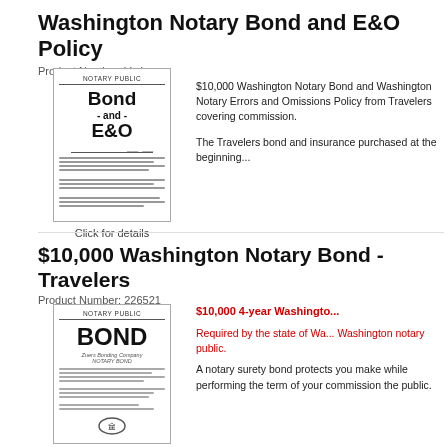Washington Notary Bond and E&O Policy
Product Number: Various
[Figure (illustration): Image of a Notary Public Bond and E&O policy document cover]
Click for details
$10,000 Washington Notary... Washington Notary Errors and Omissions Policy from Travelers covering commission. The Travelers bond and insurance purchased at the beginning...
$10,000 Washington Notary Bond - Travelers
Product Number: 226521
[Figure (illustration): Image of a Notary Public Bond document cover]
$10,000 4-year Washington... Required by the state of Washington notary public. A notary surety bond protects you make while performing the term of your commission the public.